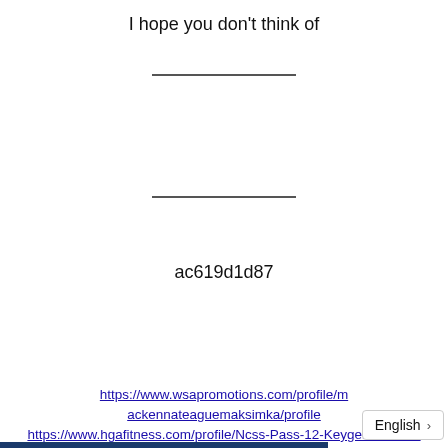I hope you don't think of
ac619d1d87
https://www.wsapromotions.com/profile/mackennateaguemaksimka/profile https://www.hgafitness.com/profile/Ncss-Pass-12-Keygen-Torrent-manida/profile https://chaywindotoniminch.wixsite.com/atpocasou/post/3blox-bot-download-eliger https://ko-fi.com/post/Beat-Angel-Escalayer-Pc-Game-Download-kriswall-O5O7CPHIV https://wakelet.com/wake/qww_PWNU6enwNgCv6ykJ-
English